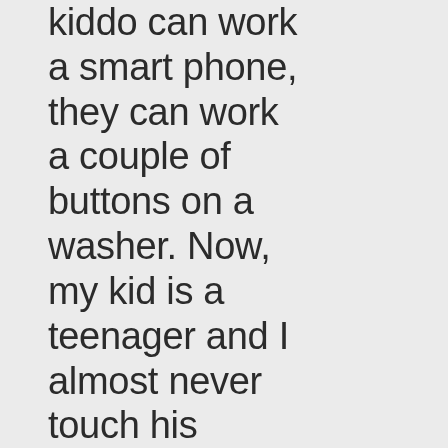kiddo can work a smart phone, they can work a couple of buttons on a washer. Now, my kid is a teenager and I almost never touch his laundry. He washes his own clothes, and puts them away, and figures out